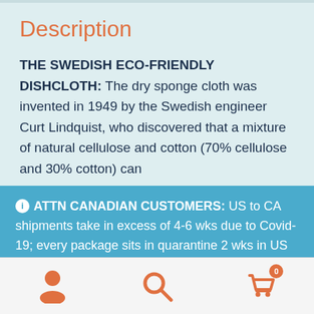Description
THE SWEDISH ECO-FRIENDLY DISHCLOTH: The dry sponge cloth was invented in 1949 by the Swedish engineer Curt Lindquist, who discovered that a mixture of natural cellulose and cotton (70% cellulose and 30% cotton) can
ⓘ ATTN CANADIAN CUSTOMERS: US to CA shipments take in excess of 4-6 wks due to Covid-19; every package sits in quarantine 2 wks in US then 2 wks in CA before delivery. All shipments to Canada may incur duties/taxes which the customer is responsible for.
Dismiss